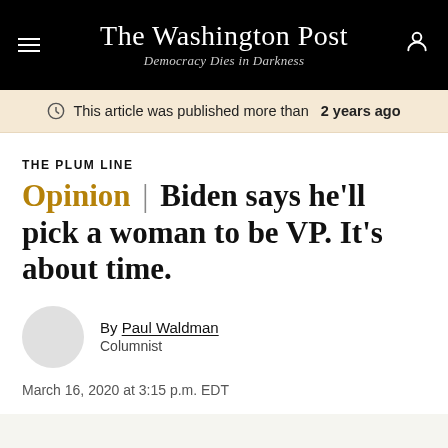The Washington Post — Democracy Dies in Darkness
This article was published more than 2 years ago
THE PLUM LINE
Opinion | Biden says he'll pick a woman to be VP. It's about time.
By Paul Waldman
Columnist
March 16, 2020 at 3:15 p.m. EDT